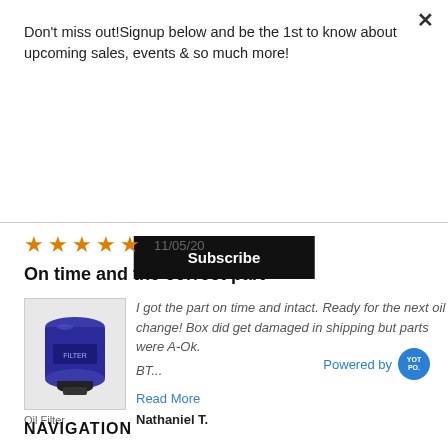Don't miss out!Signup below and be the 1st to know about upcoming sales, events & so much more!
Subscribe
★★★★★  11/05/20
On time and the correct part
[Figure (photo): Blue oil filter product image]
Oil Filter
I got the part on time and intact. Ready for the next oil change! Box did get damaged in shipping but parts were A-Ok.

BT...
Read More
Nathaniel T.
Powered by YOTPO
NAVIGATION